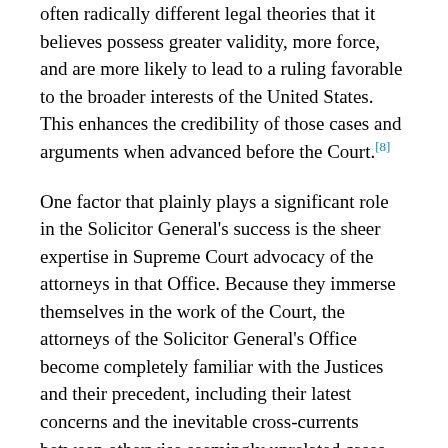often radically different legal theories that it believes possess greater validity, more force, and are more likely to lead to a ruling favorable to the broader interests of the United States. This enhances the credibility of those cases and arguments when advanced before the Court.[8]
One factor that plainly plays a significant role in the Solicitor General's success is the sheer expertise in Supreme Court advocacy of the attorneys in that Office. Because they immerse themselves in the work of the Court, the attorneys of the Solicitor General's Office become completely familiar with the Justices and their precedent, including their latest concerns and the inevitable cross-currents between otherwise seemingly unrelated cases that would be largely invisible to those who focus on just one case at a time. They work hard as repeat litigants to establish their credibility with the Justices. They know how to write briefs for that audience and how to anticipate problems and exploit opportunities.